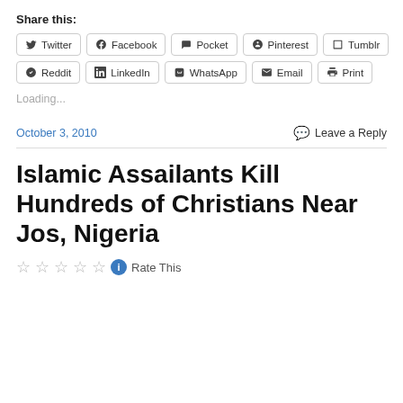Share this:
Twitter | Facebook | Pocket | Pinterest | Tumblr
Reddit | LinkedIn | WhatsApp | Email | Print
Loading...
October 3, 2010
Leave a Reply
Islamic Assailants Kill Hundreds of Christians Near Jos, Nigeria
Rate This